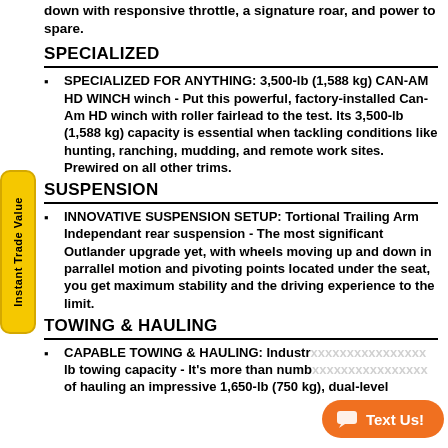down with responsive throttle, a signature roar, and power to spare.
SPECIALIZED
SPECIALIZED FOR ANYTHING: 3,500-lb (1,588 kg) CAN-AM HD WINCH winch - Put this powerful, factory-installed Can-Am HD winch with roller fairlead to the test. Its 3,500-lb (1,588 kg) capacity is essential when tackling conditions like hunting, ranching, mudding, and remote work sites. Prewired on all other trims.
SUSPENSION
INNOVATIVE SUSPENSION SETUP: Tortional Trailing Arm Independant rear suspension - The most significant Outlander upgrade yet, with wheels moving up and down in parrallel motion and pivoting points located under the seat, you get maximum stability and the driving experience to the limit.
TOWING & HAULING
CAPABLE TOWING & HAULING: Industr... lb towing capacity - It's more than numb... of hauling an impressive 1,650-lb (750 kg), dual-level